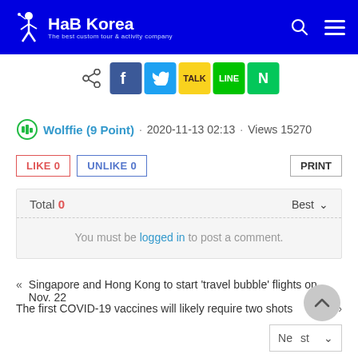HaB Korea - The best custom tour & activity company
[Figure (screenshot): Social sharing icons: share, Facebook, Twitter, KakaoTalk, LINE, Naver]
Wolffie (9 Point) · 2020-11-13 02:13 · Views 15270
LIKE 0   UNLIKE 0   PRINT
Total 0   Best
You must be logged in to post a comment.
« Singapore and Hong Kong to start 'travel bubble' flights on Nov. 22
The first COVID-19 vaccines will likely require two shots »